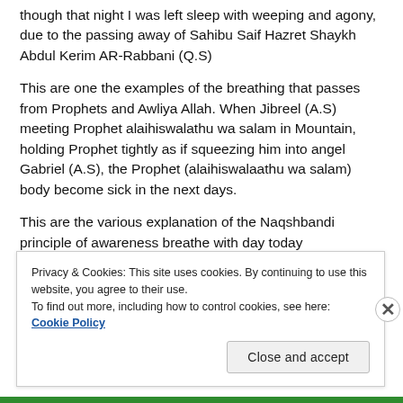though that night I was left sleep with weeping and agony, due to the passing away of Sahibu Saif Hazret Shaykh Abdul Kerim AR-Rabbani (Q.S)
This are one the examples of the breathing that passes from Prophets and Awliya Allah. When Jibreel (A.S) meeting Prophet alaihiswalathu wa salam in Mountain, holding Prophet tightly as if squeezing him into angel Gabriel (A.S), the Prophet (alaihiswalaathu wa salam) body become sick in the next days.
This are the various explanation of the Naqshbandi principle of awareness breathe with day today
Privacy & Cookies: This site uses cookies. By continuing to use this website, you agree to their use.
To find out more, including how to control cookies, see here: Cookie Policy